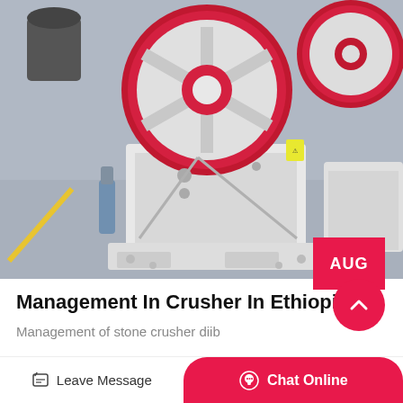[Figure (photo): Industrial jaw crusher machines in a factory setting. Large white machines with red flywheel discs are visible in a manufacturing/warehouse environment with grey concrete floors.]
Management In Crusher In Ethiopia
Management of stone crusher diib
Leave Message
Chat Online